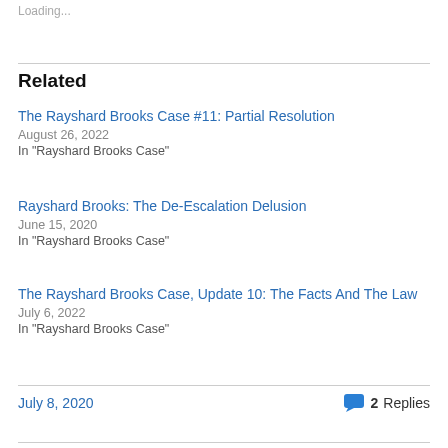Loading...
Related
The Rayshard Brooks Case #11: Partial Resolution
August 26, 2022
In "Rayshard Brooks Case"
Rayshard Brooks: The De-Escalation Delusion
June 15, 2020
In "Rayshard Brooks Case"
The Rayshard Brooks Case, Update 10: The Facts And The Law
July 6, 2022
In "Rayshard Brooks Case"
July 8, 2020
2 Replies